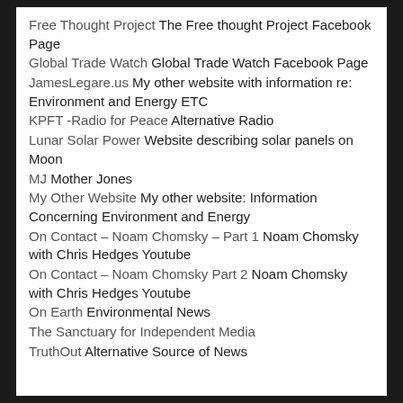Free Thought Project The Free thought Project Facebook Page
Global Trade Watch Global Trade Watch Facebook Page
JamesLegare.us My other website with information re: Environment and Energy ETC
KPFT -Radio for Peace Alternative Radio
Lunar Solar Power Website describing solar panels on Moon
MJ Mother Jones
My Other Website My other website: Information Concerning Environment and Energy
On Contact – Noam Chomsky – Part 1 Noam Chomsky with Chris Hedges Youtube
On Contact – Noam Chomsky Part 2 Noam Chomsky with Chris Hedges Youtube
On Earth Environmental News
The Sanctuary for Independent Media
TruthOut Alternative Source of News